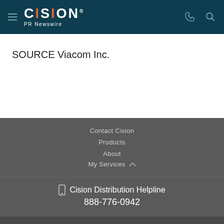CISION PR Newswire
SOURCE Viacom Inc.
Contact Cision
Products
About
My Services
Cision Distribution Helpline 888-776-0942
Terms of Use | Privacy Policy | Information Security Policy | Site Map | RSS | Cookie Settings Copyright © 2022 Cision US Inc.